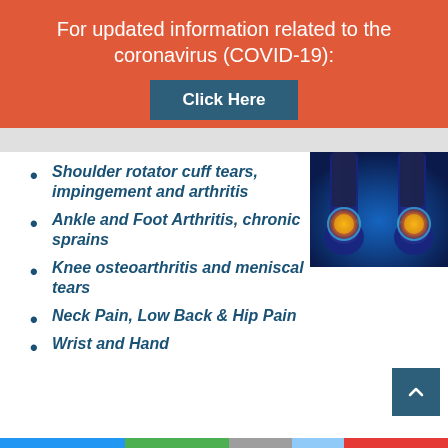For updated information related to the coronavirus (COVID-19):
Click Here
[Figure (photo): Medical illustration of ankle/foot joints glowing orange on a blue background, showing two feet from behind]
Shoulder rotator cuff tears, impingement and arthritis
Ankle and Foot Arthritis, chronic sprains
Knee osteoarthritis and meniscal tears
Neck Pain, Low Back & Hip Pain
Wrist and Hand